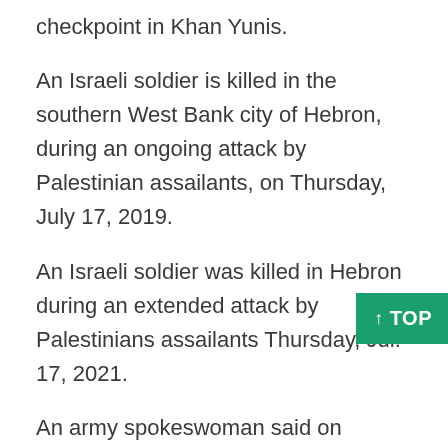checkpoint in Khan Yunis.
An Israeli soldier is killed in the southern West Bank city of Hebron, during an ongoing attack by Palestinian assailants, on Thursday, July 17, 2019.
An Israeli soldier was killed in Hebron during an extended attack by Palestinians assailants Thursday, Jul. 17, 2021.
An army spokeswoman said on Thursday that an Israeli soldier had been killed, and that an IDF helicopter had been shot down over Gaza,